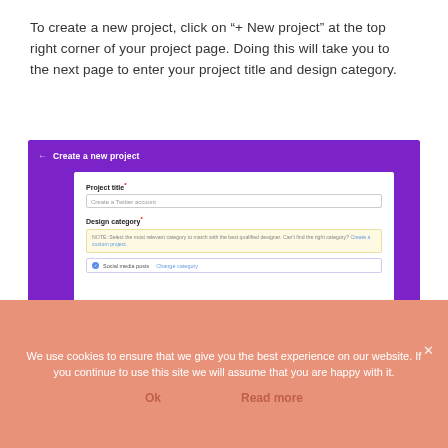To create a new project, click on “+ New project” at the top right corner of your project page. Doing this will take you to the next page to enter your project title and design category.
[Figure (screenshot): Screenshot of a 'Create a new project' form with a purple header bar, fields for Project title (with placeholder 'Create a Twitter account') and Design category (with a note box and a selected category row showing 'Social media posts  Change category').]
We use cookies to ensure that we give you the best experience on our website. If you continue to use this site we will assume that you are happy with it.
Ok
Read more